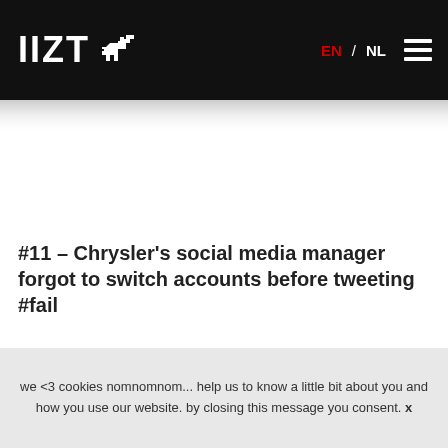IIZT [dog logo] EN / NL [menu]
#11 – Chrysler's social media manager forgot to switch accounts before tweeting #fail
we <3 cookies nomnomnom... help us to know a little bit about you and how you use our website. by closing this message you consent. x